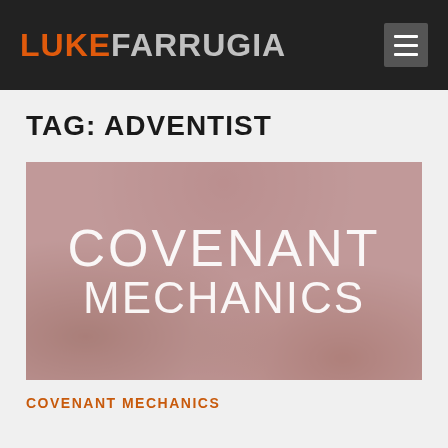LUKEFARRUGIA
TAG: ADVENTIST
[Figure (illustration): Article thumbnail image with overlaid text reading 'COVENANT MECHANICS' in large white letters on a pinkish-red muted background showing indistinct figures]
COVENANT MECHANICS